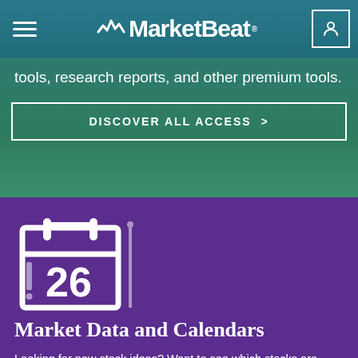MarketBeat
tools, research reports, and other premium tools.
DISCOVER ALL ACCESS >
[Figure (illustration): Calendar icon showing the number 26, white on purple background]
Market Data and Calendars
Looking for new stock ideas? Want to see which stocks are moving? View our full suite of financial calendars and market data tables, all